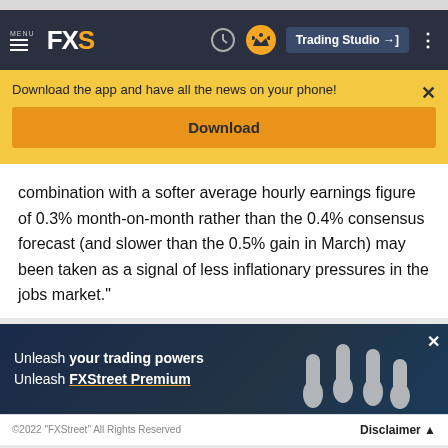FXS — MENU | Trading Studio
Download the app and have all the news on your phone!
Download
combination with a softer average hourly earnings figure of 0.3% month-on-month rather than the 0.4% consensus forecast (and slower than the 0.5% gain in March) may been taken as a signal of less inflationary pressures in the jobs market."
[Figure (screenshot): FXStreet Premium advertisement banner showing fists raised with text: Unleash your trading powers Unleash FXStreet Premium]
©2022 "FXStreet" All Rights Reserved   Disclaimer ▲